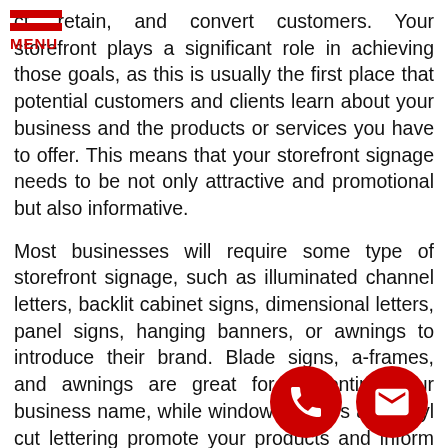[Figure (logo): Red hamburger menu icon with two red bars and red MENU text label]
ct, retain, and convert customers. Your storefront plays a significant role in achieving those goals, as this is usually the first place that potential customers and clients learn about your business and the products or services you have to offer. This means that your storefront signage needs to be not only attractive and promotional but also informative.
Most businesses will require some type of storefront signage, such as illuminated channel letters, backlit cabinet signs, dimensional letters, panel signs, hanging banners, or awnings to introduce their brand. Blade signs, a-frames, and awnings are great for presenting your business name, while window displays and vinyl cut lettering promote your products and inform your customers about your hours of operations.
It requires the right blend of exterior signage to increase brand recognition and improve business visibility, and Allegra Sign Company has the tools, expertise, and resources to help you get the right signs for your business.
[Figure (illustration): Red circular phone call icon button]
[Figure (illustration): Red circular email/envelope icon button]